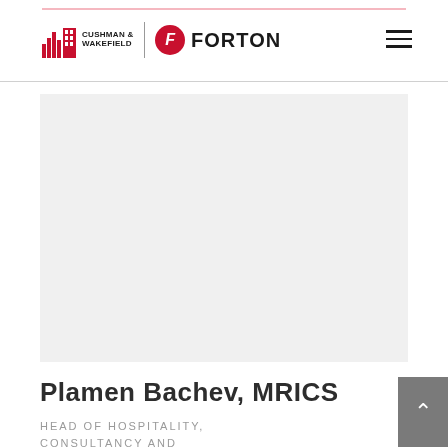Cushman & Wakefield | Forton
[Figure (photo): Profile photo placeholder for Plamen Bachev — light grey rectangle]
Plamen Bachev, MRICS
HEAD OF HOSPITALITY, CONSULTANCY AND